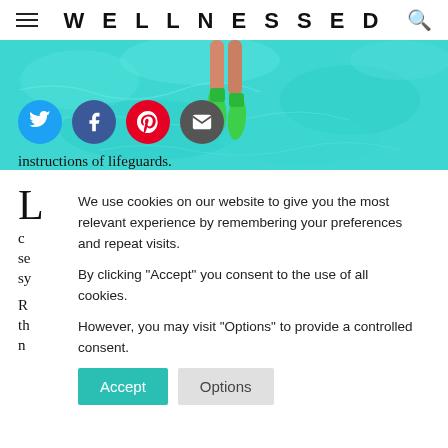WELLNESSED
[Figure (photo): Aerial view of a person snorkeling in bright turquoise water with green fins visible]
L...c...se...sy...R...th...n...instructions of lifeguards.
We use cookies on our website to give you the most relevant experience by remembering your preferences and repeat visits.

By clicking "Accept" you consent to the use of all cookies.

However, you may visit "Options" to provide a controlled consent.